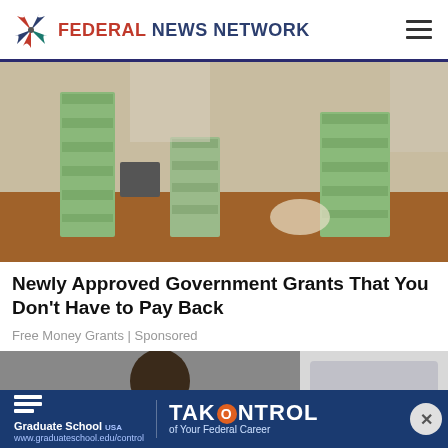FEDERAL NEWS NETWORK
[Figure (photo): Large stacks of bundled currency/cash on a table with people in background]
Newly Approved Government Grants That You Don't Have to Pay Back
Free Money Grants | Sponsored
[Figure (photo): Person in car, partially visible, second article thumbnail]
[Figure (illustration): Advertisement banner: Graduate School USA - TAKE CONTROL of Your Federal Career]